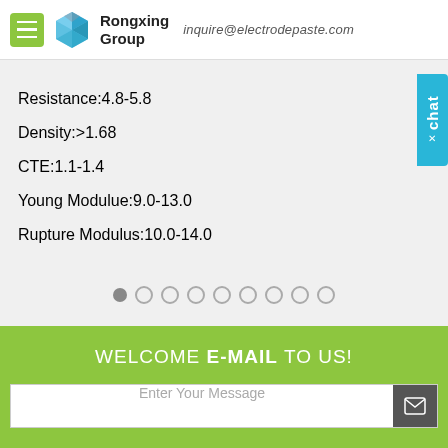Rongxing Group — inquire@electrodepaste.com
Resistance:4.8-5.8
Density:>1.68
CTE:1.1-1.4
Young Modulue:9.0-13.0
Rupture Modulus:10.0-14.0
WELCOME E-MAIL TO US!
Enter Your Message
Online Chat
Get Quote